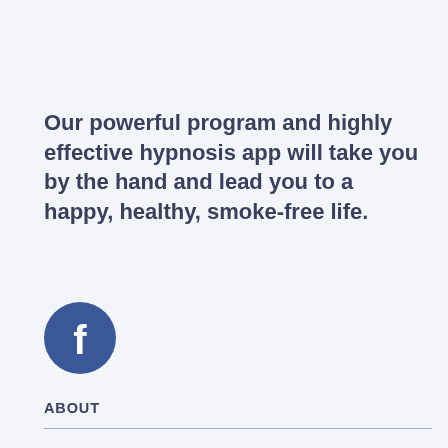Our powerful program and highly effective hypnosis app will take you by the hand and lead you to a happy, healthy, smoke-free life.
[Figure (logo): Facebook circular icon — dark blue circle with white letter f in the center]
ABOUT
About Us
FAQ
Blog